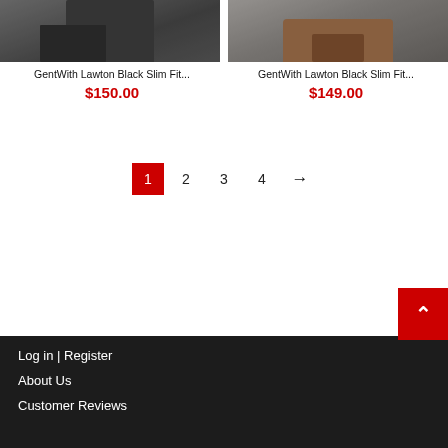[Figure (photo): Black dress boots/shoes on cobblestone, lower body shot]
GentWith Lawton Black Slim Fit...
$150.00
[Figure (photo): Brown leather dress shoes on steps, lower body shot]
GentWith Lawton Black Slim Fit...
$149.00
1 2 3 4 →
Log in | Register
About Us
Customer Reviews